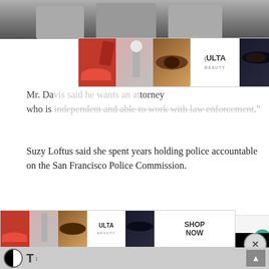[Figure (photo): Top portion of a news article photo showing people, partially cropped]
[Figure (advertisement): Ulta Beauty advertisement banner with cosmetic images (lips, brush, eyes, logo) and SHOP NOW button]
Mr. Da[vis said he wants an at]torney who is independent and able to work with law enforcement."
Suzy Loftus said she spent years holding police accountable on the San Francisco Police Commission.
[Figure (advertisement): Advertisement box with home and kitchen article teaser: '37 HOME AND K[itchen items] EVERYONE SH[ould own]']
[Figure (other): Black video overlay panel covering right portion of page]
[Figure (other): Close button overlay (gray rectangle with CLOSE text)]
[Figure (advertisement): Ulta Beauty advertisement banner at bottom with cosmetic images and SHOP NOW button]
[Figure (other): Bottom toolbar with contrast toggle icon, text size icon, and scroll-to-top arrow]